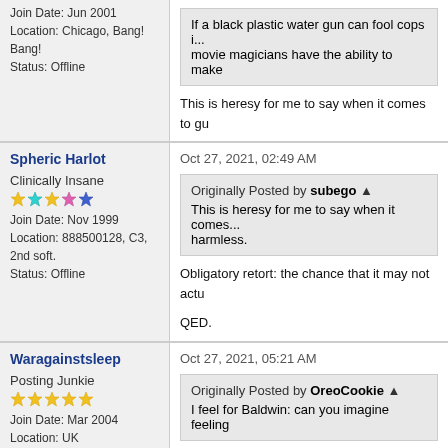Join Date: Jun 2001
Location: Chicago, Bang! Bang!
Status: Offline
If a black plastic water gun can fool cops ... movie magicians have the ability to make
This is heresy for me to say when it comes to gu
Spheric Harlot
Oct 27, 2021, 02:49 AM
Clinically Insane
Join Date: Nov 1999
Location: 888500128, C3, 2nd soft.
Status: Offline
Originally Posted by subego
This is heresy for me to say when it comes ... harmless.
Obligatory retort: the chance that it may not actu
QED.
Waragainstsleep
Oct 27, 2021, 05:21 AM
Posting Junkie
Join Date: Mar 2004
Location: UK
Originally Posted by OreoCookie
I feel for Baldwin: can you imagine feeling